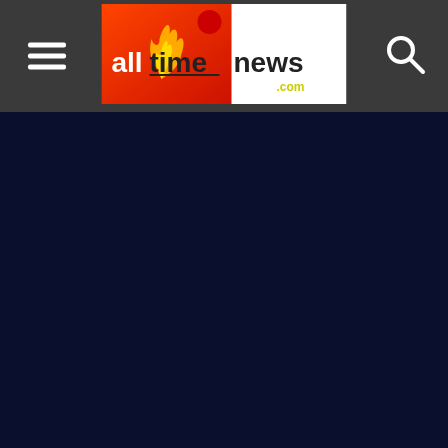alltimenews.com
[Figure (logo): alltimenews.com website header with logo featuring orange/red gradient with flame icon and 'alltimenews .com' text, hamburger menu icon on left, search icon on right, dark gray header bar]